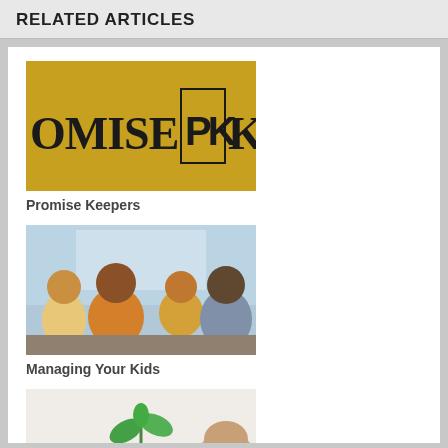RELATED ARTICLES
[Figure (photo): Promise Keepers logo on golden/yellow background with text 'PROMISE KEEPERS' and PK emblem]
Promise Keepers
[Figure (photo): Family photo showing a woman, man, and two children sitting together and smiling]
Managing Your Kids
[Figure (photo): Small seedling plant growing, partially visible at bottom of page]